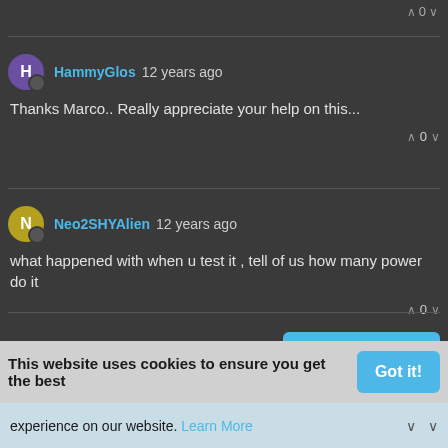0
HammyGlos 12 years ago
Thanks Marco.. Really appreciate your help on this...
0
Neo2SHYAlien 12 years ago
what happened with when u test it , tell of us how many power do it
0
Log in to reply
Copyright 2021 UK-MX3.com | Powered by NodeBB
This website uses cookies to ensure you get the best
Got it!
experience on our website. Learn More